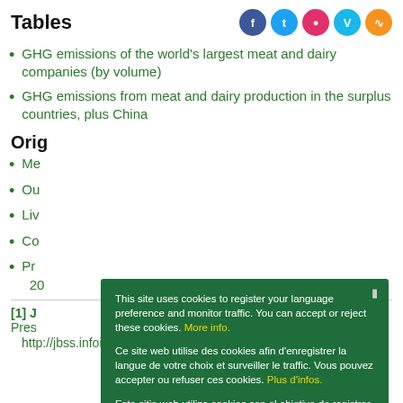Tables
GHG emissions of the world's largest meat and dairy companies (by volume)
GHG emissions from meat and dairy production in the surplus countries, plus China
Orig
Me
Ou
Liv
Co
Pr 20
[1] J Press http://jbss.infoinvest.com.br/enu/2892/JBSDayNY_40
[Figure (screenshot): Cookie consent overlay in dark green with text in English, French, and Spanish, plus an Ok button. Contains links: More info., Plus d'infos., Mayor información.]